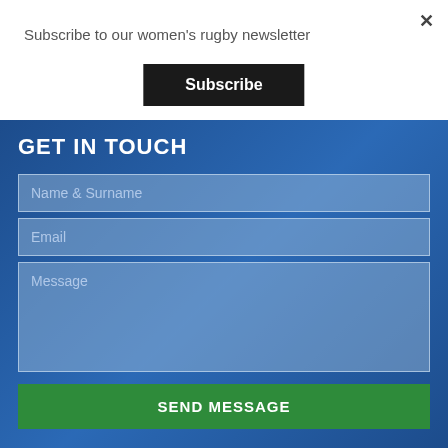Subscribe to our women's rugby newsletter
Subscribe
GET IN TOUCH
Name & Surname
Email
Message
SEND MESSAGE